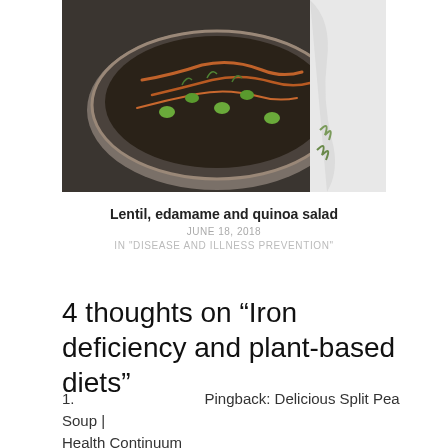[Figure (photo): Overhead photo of a bowl of lentil, edamame and quinoa salad with shredded carrots and greens on a dark surface, beside a white cloth]
Lentil, edamame and quinoa salad
JUNE 18, 2018
IN "DISEASE AND ILLNESS PREVENTION"
4 thoughts on “Iron deficiency and plant-based diets”
1.
Pingback: Delicious Split Pea Soup | Health Continuum